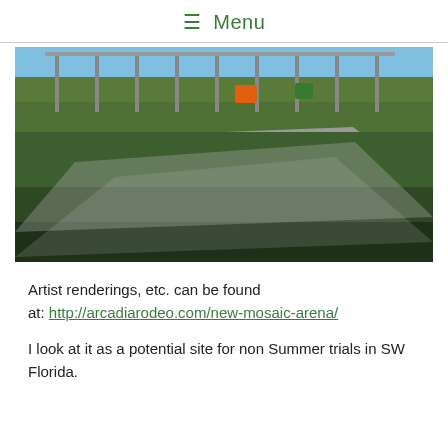☰ Menu
[Figure (photo): Outdoor construction site photo showing a large metal frame structure being built in the background, with green grass fields, a gravel path/road in the foreground, and heavy equipment visible near the structure under a blue sky.]
Artist renderings, etc. can be found at: http://arcadiarodeo.com/new-mosaic-arena/
I look at it as a potential site for non Summer trials in SW Florida.